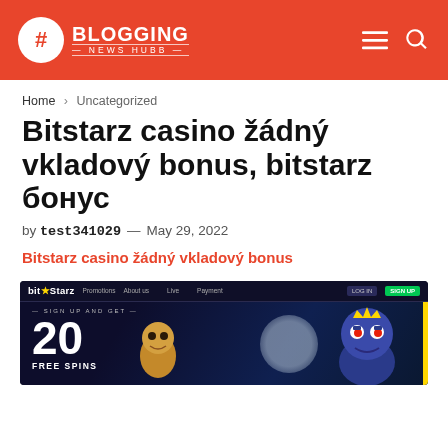BLOGGING NEWS HUBB
Home > Uncategorized
Bitstarz casino žádný vkladový bonus, bitstarz бонус
by test341029 — May 29, 2022
Bitstarz casino žádný vkladový bonus
[Figure (screenshot): Screenshot of the BitStarz casino website showing the homepage with a promotional banner: SIGN UP AND GET 20 FREE SPINS, with animated monster/character graphics on a dark blue night background, and the site navigation bar at the top.]